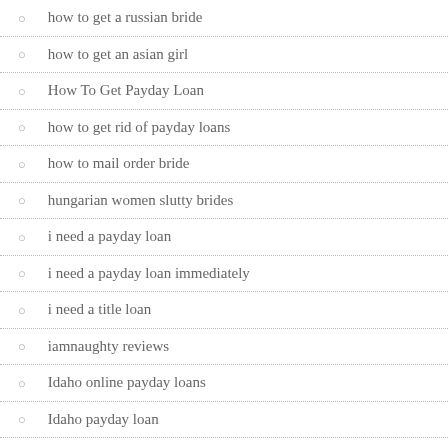how to get a russian bride
how to get an asian girl
How To Get Payday Loan
how to get rid of payday loans
how to mail order bride
hungarian women slutty brides
i need a payday loan
i need a payday loan immediately
i need a title loan
iamnaughty reviews
Idaho online payday loans
Idaho payday loan